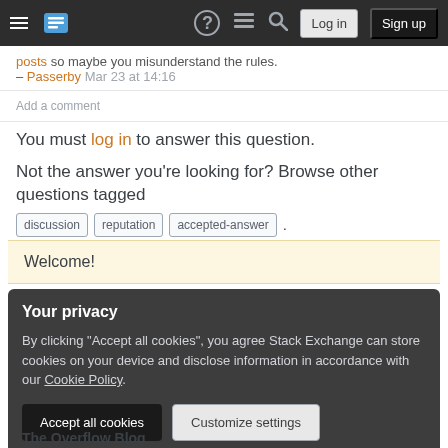Stack Exchange navigation bar with Log in and Sign up buttons
posts so maybe you misunderstand the rules. – Passerby Mar 23 at 14:16
Add a comment
You must log in to answer this question.
Not the answer you're looking for? Browse other questions tagged discussion reputation accepted-answer .
Welcome!
Your privacy
By clicking "Accept all cookies", you agree Stack Exchange can store cookies on your device and disclose information in accordance with our Cookie Policy.
Accept all cookies
Customize settings
The Overflow Blog